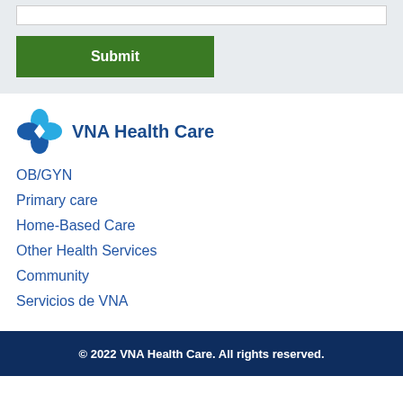[Figure (other): White input bar at top of page]
[Figure (other): Green Submit button]
[Figure (logo): VNA Health Care logo with blue diamond/teardrop shapes and organization name]
OB/GYN
Primary care
Home-Based Care
Other Health Services
Community
Servicios de VNA
© 2022 VNA Health Care. All rights reserved.